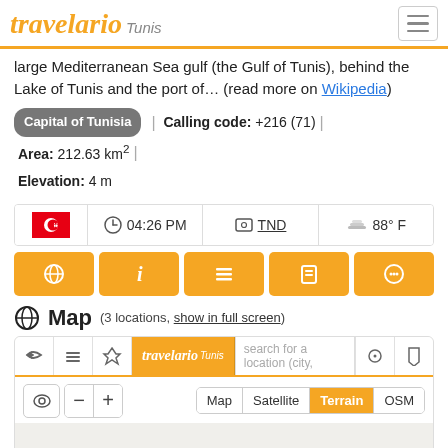travelario Tunis
large Mediterranean Sea gulf (the Gulf of Tunis), behind the Lake of Tunis and the port of... (read more on Wikipedia)
Capital of Tunisia | Calling code: +216 (71) | Area: 212.63 km² | Elevation: 4 m
[Figure (infographic): Info widget row showing: Tunisian flag, clock icon with 04:26 PM, currency icon with TND (underlined), weather icon with 88° F]
[Figure (infographic): Navigation button row with 5 orange buttons: globe icon, info icon, list icon, document icon, chat icon]
Map (3 locations, show in full screen)
[Figure (map): Embedded map widget showing travelario Tunis logo, search bar, map controls (eye, minus, plus), map type buttons (Map, Satellite, Terrain selected, OSM), and a light grey map canvas area]